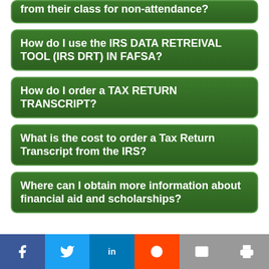from their class for non-attendance?
How do I use the IRS DATA RETREIVAL TOOL (IRS DRT) IN FAFSA?
How do I order a TAX RETURN TRANSCRIPT?
What is the cost to order a Tax Return Transcript from the IRS?
Where can I obtain more information about financial aid and scholarships?
[Figure (other): Social media share buttons row: count 0, Facebook, Twitter, LinkedIn, Reddit, Email, Print buttons in small size above and large size below]